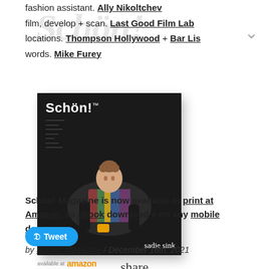fashion assistant. Ally Nikoltchev
film, develop + scan. Last Good Film Lab
locations. Thompson Hollywood + Bar Lis
words. Mike Furey
[Figure (photo): Schön! Magazine cover featuring Sadie Sink, available at Amazon]
Schön! Magazine is now available in print at Amazon, as ebook download + on any mobile device
Tweet (button)
by Schön! Magazine / December 16th, 2021
share